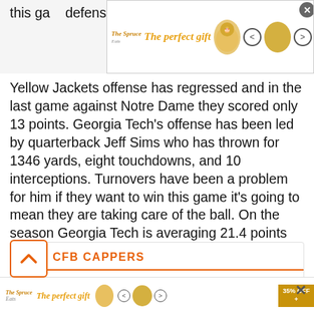this ga... defens... te, the Yellow Jackets offense has regressed and in the last game against Notre Dame they scored only 13 points. Georgia Tech's offense has been led by quarterback Jeff Sims who has thrown for 1346 yards, eight touchdowns, and 10 interceptions. Turnovers have been a problem for him if they want to win this game it's going to mean they are taking care of the ball. On the season Georgia Tech is averaging 21.4 points per game while their defense is giving up 39.7 points per game.
[Figure (screenshot): Advertisement banner: The perfect gift - 35% OFF + FREE SHIPPING]
HOT CFB CAPPERS
[Figure (photo): Photo of James Clark, a man with a beard wearing a blue shirt]
James Clark
W100/L78 +1,557 Units
[Figure (screenshot): Bottom advertisement banner: The perfect gift - 35% OFF +]